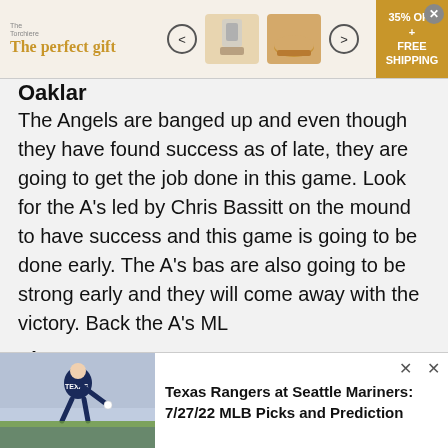[Figure (screenshot): Advertisement banner: 'The perfect gift' with product images and '35% OFF + FREE SHIPPING' badge]
Oakla[nd]
The Angels are banged up and even though they have found success as of late, they are going to get the job done in this game. Look for the A's led by Chris Bassitt on the mound to have success and this game is going to be done early. The A's bas are also going to be strong early and they will come away with the victory. Back the A's ML
Play: A's ML
ADVERTISEMENT
[Figure (screenshot): Second advertisement banner: 'The perfect gift' with product images and '35% OFF + FREE SHIPPING' badge]
Risk Free Bets, Free Bets and Deposit Bonuses
[Figure (screenshot): Bottom popup card showing a Texas Rangers pitcher with text: Texas Rangers at Seattle Mariners: 7/27/22 MLB Picks and Prediction]